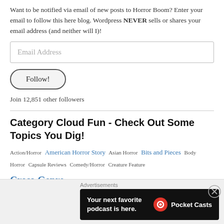Want to be notified via email of new posts to Horror Boom? Enter your email to follow this here blog. Wordpress NEVER sells or shares your email address (and neither will I)!
Email Address
Follow!
Join 12,851 other followers
Category Cloud Fun - Check Out Some Topics You Dig!
Action/Horror  American Horror Story  Asian Horror  Bits and Pieces  Body Horror  Capsule Reviews  Comedy/Horror  Creature Feature  Cross-Genre  Dark Humor  Extreme Horror  Found-Footage Horror  Get The HELL Scared Out of You!  Gorehounds Unite!
Advertisements
[Figure (infographic): Pocket Casts advertisement: 'Your next favorite podcast is here.' with Pocket Casts logo on dark background.]